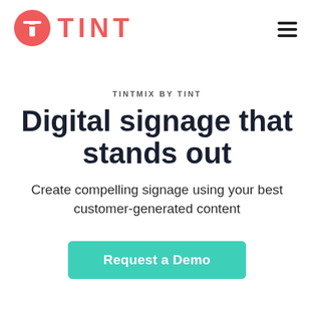[Figure (logo): TINT logo: red circle with white T icon followed by bold red text TINT]
[Figure (illustration): Hamburger menu icon (three horizontal lines) in top right corner]
TINTMIX BY TINT
Digital signage that stands out
Create compelling signage using your best customer-generated content
Request a Demo